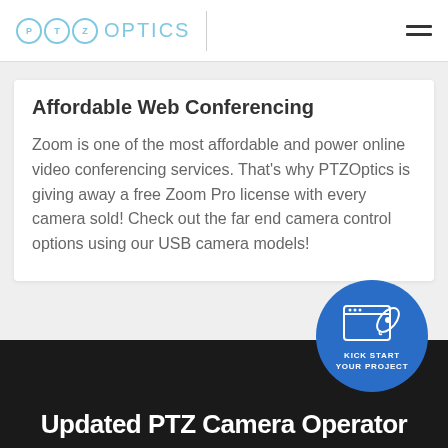PTZOptics
Affordable Web Conferencing
Zoom is one of the most affordable and power online video conferencing services. That's why PTZOptics is giving away a free Zoom Pro license with every camera sold! Check out the far end camera control options using our USB camera models!
[Figure (logo): Kick Start Your Project circular CTA button with rocket icon]
Updated PTZ Camera Operator